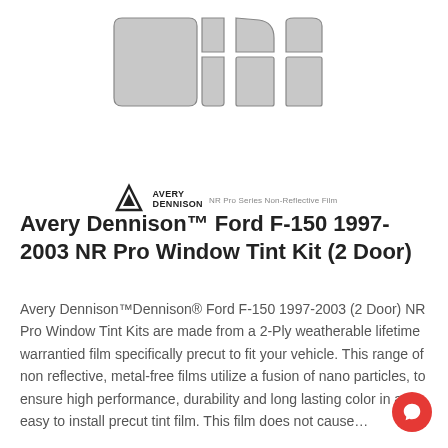[Figure (illustration): Diagram showing window tint film pieces for a 2-door truck — rear window (two-part), two side quarter windows, front door shaped pieces — all in light gray/silver color, plus Avery Dennison logo and 'NR Pro Series Non-Reflective Film' tagline below]
Avery Dennison™ Ford F-150 1997-2003 NR Pro Window Tint Kit (2 Door)
Avery Dennison™Dennison® Ford F-150 1997-2003 (2 Door) NR Pro Window Tint Kits are made from a 2-Ply weatherable lifetime warrantied film specifically precut to fit your vehicle. This range of non reflective, metal-free films utilize a fusion of nano particles, to ensure high performance, durability and long lasting color in an easy to install precut tint film. This film does not cause…